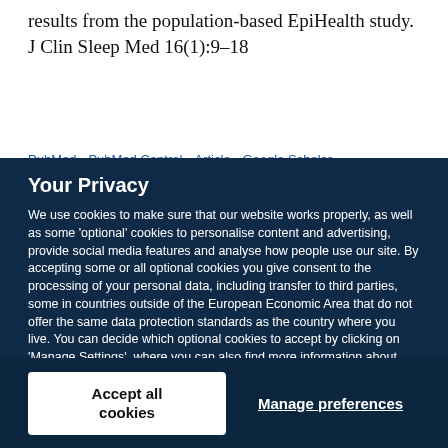results from the population-based EpiHealth study. J Clin Sleep Med 16(1):9–18
PubMed  PubMed Central  Article  Google Scholar
Your Privacy
We use cookies to make sure that our website works properly, as well as some 'optional' cookies to personalise content and advertising, provide social media features and analyse how people use our site. By accepting some or all optional cookies you give consent to the processing of your personal data, including transfer to third parties, some in countries outside of the European Economic Area that do not offer the same data protection standards as the country where you live. You can decide which optional cookies to accept by clicking on 'Manage Settings', where you can also find more information about how your personal data is processed. Further information can be found in our privacy policy.
Accept all cookies
Manage preferences